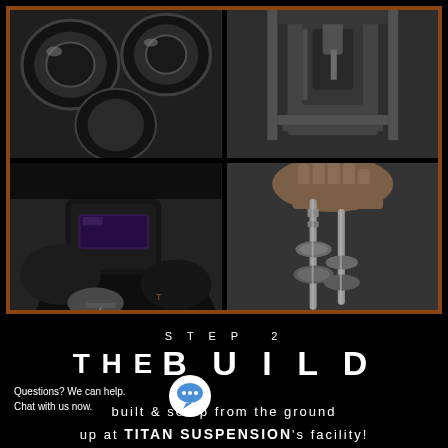[Figure (photo): A 2x2 grid of manufacturing/engineering photos with an orange-brown border: top-left shows engine pistons in black and white, top-right shows machining/drilling equipment in black and white, bottom-left shows a welder with a welding mask working, bottom-right shows hands assembling suspension components/shock absorbers.]
STEP 2
THE BUILD
Questions? We can help.
Chat with us now.
built & setup from the ground up at TITAN SUSPENSION's facility!